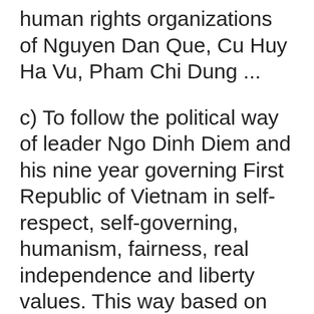human rights organizations of Nguyen Dan Que, Cu Huy Ha Vu, Pham Chi Dung ...
c) To follow the political way of leader Ngo Dinh Diem and his nine year governing First Republic of Vietnam in self-respect, self-governing, humanism, fairness, real independence and liberty values. This way based on the motto "Fatherland - Honor - Responsibility" to plan domestic and foreign policies and to inspect the results of these policies.